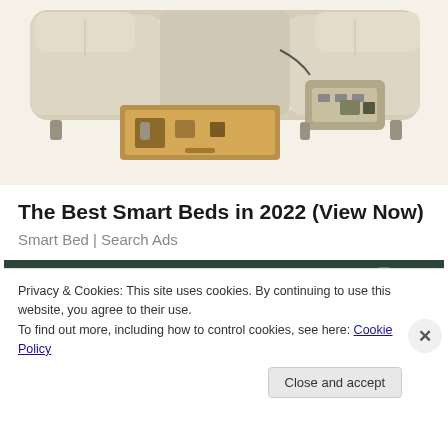[Figure (photo): Partial top view of a smart bed/sofa with storage drawer open, in beige/cream leather, shown from above cropped at top of page]
The Best Smart Beds in 2022 (View Now)
Smart Bed | Search Ads
[Figure (photo): Photo of a man with sunglasses and beard sitting in what appears to be stadium seating with teal/green chairs, another person partially visible to the right]
Privacy & Cookies: This site uses cookies. By continuing to use this website, you agree to their use.
To find out more, including how to control cookies, see here: Cookie Policy
Close and accept